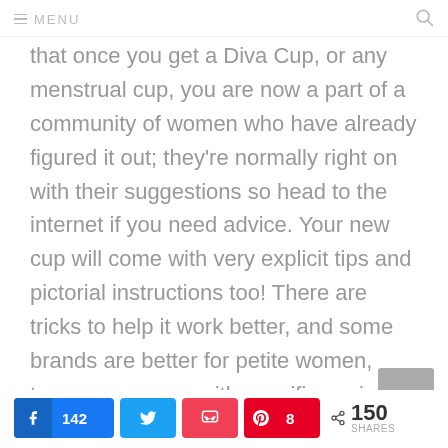MENU
that once you get a Diva Cup, or any menstrual cup, you are now a part of a community of women who have already figured it out; they're normally right on with their suggestions so head to the internet if you need advice. Your new cup will come with very explicit tips and pictorial instructions too! There are tricks to help it work better, and some brands are better for petite women, teens, or women with specific vaginal canal issues.
142 (Facebook shares) | Twitter share | Pocket share | 8 (Pinterest shares) | < 150 SHARES